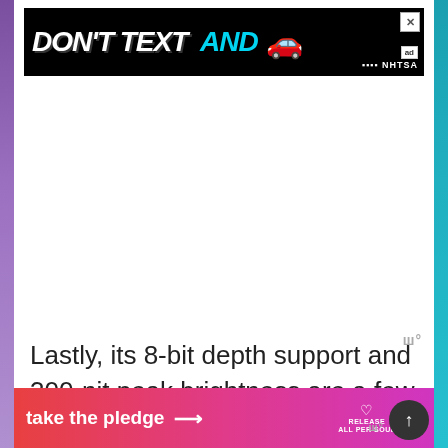[Figure (screenshot): NHTSA advertisement banner: 'DON'T TEXT AND [car emoji]' on black background with ad badge and close button]
Lastly, its 8-bit depth support and 300-nit peak brightness are a few more advantages of this portable
[Figure (screenshot): Bottom ad banner: 'take the pledge' with arrow, Release logo, and ad badge on gradient pink/magenta background]